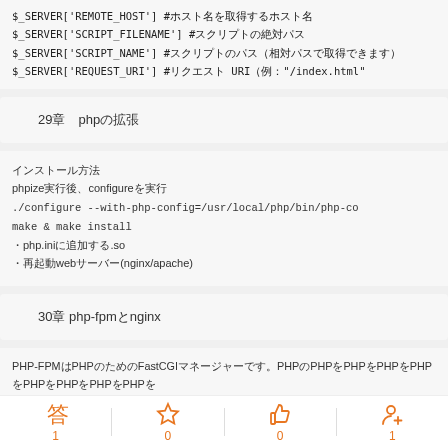$_SERVER['REMOTE_HOST'] #ホスト名を取得するホスト名
$_SERVER['SCRIPT_FILENAME'] #スクリプトの絶対パス
$_SERVER['SCRIPT_NAME'] #スクリプトのパス（相対パスで取得できます）
$_SERVER['REQUEST_URI'] #リクエスト URI（例："/index.html"
29章　phpの拡張
インストール方法
phpize実行後、configureを実行
./configure --with-php-config=/usr/local/php/bin/php-co
make & make install
・php.iniに追加する.so
・再起動webサーバー(nginx/apache)
30章 php-fpmとnginx
PHP-FPMはPHPのためのFastCGIマネージャーです。PHPのPHPをPHPをPHPをPHPをPHPをPHPをPHPをPHPを
FastCGI はHTTP Serverの直接接続のNginxとPHP/PHP-FPM